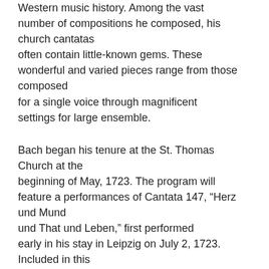Western music history. Among the vast number of compositions he composed, his church cantatas often contain little-known gems. These wonderful and varied pieces range from those composed for a single voice through magnificent settings for large ensemble.
Bach began his tenure at the St. Thomas Church at the beginning of May, 1723. The program will feature a performances of Cantata 147, “Herz und Mund und That und Leben,” first performed early in his stay in Leipzig on July 2, 1723. Included in this cantata is the celebrated chorale setting, “Jesu, Joy of Man’s Desiring.” Also on the program will be Cantata 78, “Jesu, der du meine Seele,” for four voices, flute, oboes, strings, bassoon, and organ, first performed in September, 1724, as well as Cantata 5, “Wo soll ich fliehen hin?,” for four voices, trumpet, oboes, bassoon, strings, and organ, a cantata first performed in October,